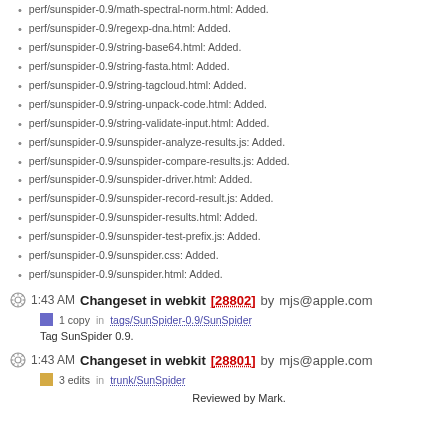perf/sunspider-0.9/math-spectral-norm.html: Added.
perf/sunspider-0.9/regexp-dna.html: Added.
perf/sunspider-0.9/string-base64.html: Added.
perf/sunspider-0.9/string-fasta.html: Added.
perf/sunspider-0.9/string-tagcloud.html: Added.
perf/sunspider-0.9/string-unpack-code.html: Added.
perf/sunspider-0.9/string-validate-input.html: Added.
perf/sunspider-0.9/sunspider-analyze-results.js: Added.
perf/sunspider-0.9/sunspider-compare-results.js: Added.
perf/sunspider-0.9/sunspider-driver.html: Added.
perf/sunspider-0.9/sunspider-record-result.js: Added.
perf/sunspider-0.9/sunspider-results.html: Added.
perf/sunspider-0.9/sunspider-test-prefix.js: Added.
perf/sunspider-0.9/sunspider.css: Added.
perf/sunspider-0.9/sunspider.html: Added.
1:43 AM Changeset in webkit [28802] by mjs@apple.com
1 copy in tags/SunSpider-0.9/SunSpider
Tag SunSpider 0.9.
1:43 AM Changeset in webkit [28801] by mjs@apple.com
3 edits in trunk/SunSpider
Reviewed by Mark.